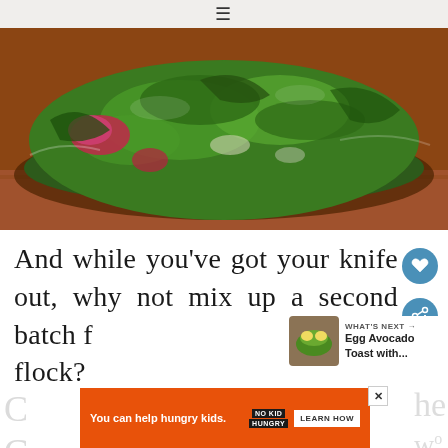[Figure (photo): Close-up photograph of a glass bowl filled with chopped greens (kale/herbs), diced vegetables including red onion, on a wooden surface]
And while you've got your knife out, why not mix up a second batch for your flock?
[Figure (photo): Thumbnail image of Egg Avocado Toast for 'What's Next' navigation]
WHAT'S NEXT → Egg Avocado Toast with...
You can help hungry kids. NO KID HUNGRY LEARN HOW